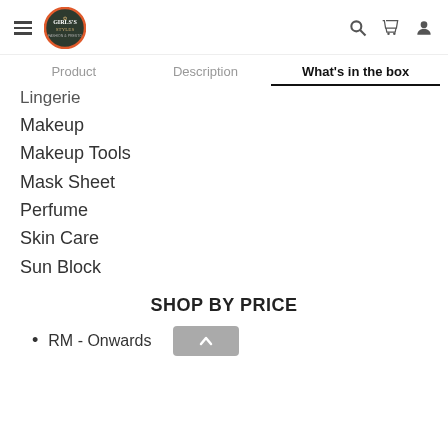Girls's Styles — navigation header with hamburger menu, logo, search, cart, and user icons
Product | Description | What's in the box
Lingerie
Makeup
Makeup Tools
Mask Sheet
Perfume
Skin Care
Sun Block
SHOP BY PRICE
RM - Onwards